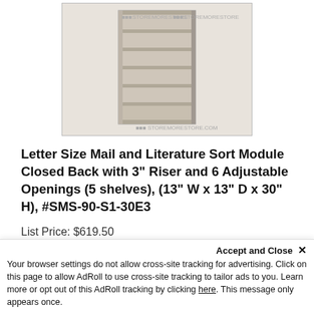[Figure (photo): Product photo of a beige/tan letter size mail and literature sort module with 6 compartments, closed back shelving unit. StoreMoreStore.com watermarks visible.]
Letter Size Mail and Literature Sort Module Closed Back with 3" Riser and 6 Adjustable Openings (5 shelves), (13" W x 13" D x 30" H), #SMS-90-S1-30E3
List Price: $619.50
Our Price: $458.89 (Dock to Dock Freight Calculated at Checkout) You save $160.61!
[Figure (photo): Partial view of another product photo at bottom of page, cut off.]
Accept and Close ×
Your browser settings do not allow cross-site tracking for advertising. Click on this page to allow AdRoll to use cross-site tracking to tailor ads to you. Learn more or opt out of this AdRoll tracking by clicking here. This message only appears once.